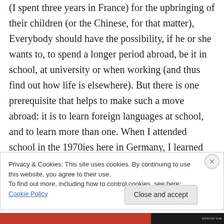(I spent three years in France) for the upbringing of their children (or the Chinese, for that matter), Everybody should have the possibility, if he or she wants to, to spend a longer period abroad, be it in school, at university or when working (and thus find out how life is elsewhere). But there is one prerequisite that helps to make such a move abroad: it is to learn foreign languages at school, and to learn more than one. When I attended school in the 1970ies here in Germany, I learned English, French and Spanish. My
Privacy & Cookies: This site uses cookies. By continuing to use this website, you agree to their use.
To find out more, including how to control cookies, see here: Cookie Policy
Close and accept